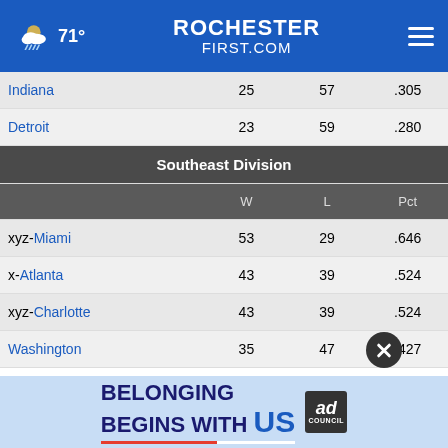71° RochesterFirst.com
|  | W | L | Pct |
| --- | --- | --- | --- |
| Indiana | 25 | 57 | .305 |
| Detroit | 23 | 59 | .280 |
| Southeast Division |  |  |  |
|  | W | L | Pct |
| xyz-Miami | 53 | 29 | .646 |
| x-Atlanta | 43 | 39 | .524 |
| xyz-Charlotte | 43 | 39 | .524 |
| Washington | 35 | 47 | .427 |
| Orland… |  |  |  |
[Figure (infographic): Ad banner: Belonging Begins With US — Ad Council logo]